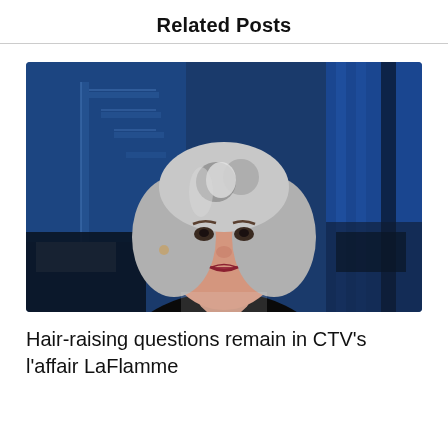Related Posts
[Figure (photo): A woman with silver-grey bob haircut wearing a black blazer, photographed in a television news studio with blue-lit background and stairs visible. She appears to be a television news anchor.]
Hair-raising questions remain in CTV's l'affair LaFlamme